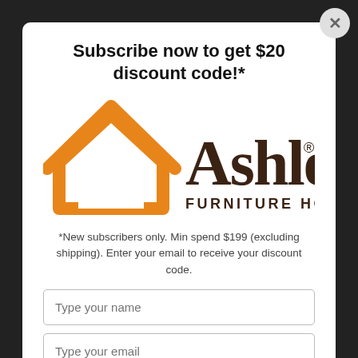Subscribe now to get $20 discount code!*
[Figure (logo): Ashley Furniture HomeStore logo with orange house outline icon and dark brown text]
*New subscribers only. Min spend $199 (excluding shipping). Enter your email to receive your discount code.
Type your name
Type your email